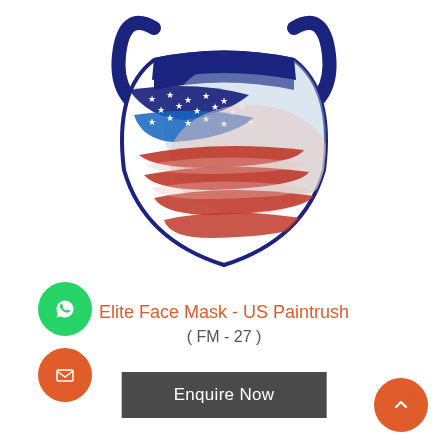[Figure (photo): Elite face mask with US paintbrush / American flag design — white mask with dark navy blue border and ear loops, decorated with paintbrush-style US flag motif (stars and stripes in blue and red on white background).]
Elite Face Mask - US Paintrush
( FM - 27 )
Enquire Now